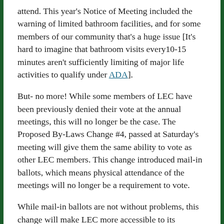attend. This year's Notice of Meeting included the warning of limited bathroom facilities, and for some members of our community that's a huge issue [It's hard to imagine that bathroom visits every10-15 minutes aren't sufficiently limiting of major life activities to qualify under ADA].
But- no more! While some members of LEC have been previously denied their vote at the annual meetings, this will no longer be the case. The Proposed By-Laws Change #4, passed at Saturday's meeting will give them the same ability to vote as other LEC members. This change introduced mail-in ballots, which means physical attendance of the meetings will no longer be a requirement to vote.
While mail-in ballots are not without problems, this change will make LEC more accessible to its...